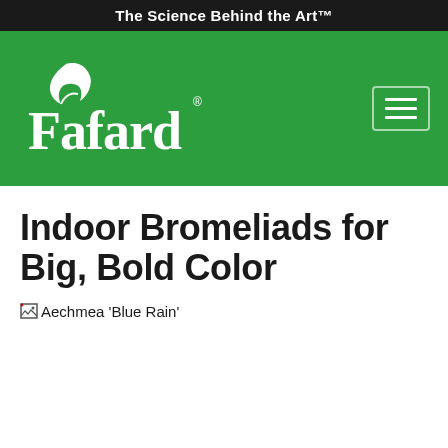The Science Behind the Art™
[Figure (logo): Fafard logo with white leaf icon and white text 'Fafard' on green background, registered trademark symbol; hamburger menu icon in top right]
Indoor Bromeliads for Big, Bold Color
[Figure (photo): Broken image placeholder with alt text: Aechmea 'Blue Rain']